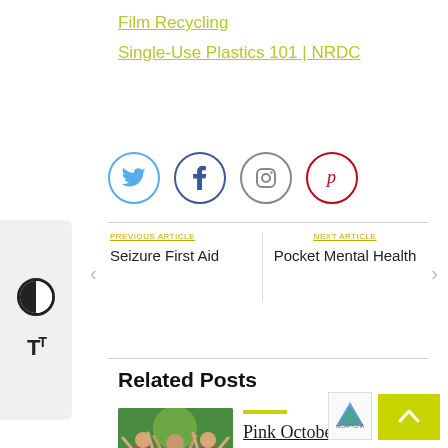Film Recycling
Single-Use Plastics 101 | NRDC
[Figure (infographic): Social media share icons: Twitter (blue circle), Facebook (dark blue circle), Instagram (gray circle), Pinterest (red circle)]
[Figure (infographic): Navigation bar with Previous Article: Seizure First Aid and Next Article: Pocket Mental Health, with left and right arrow chevrons]
Related Posts
[Figure (photo): Photo of women in pink shirts celebrating with arms raised]
Pink October